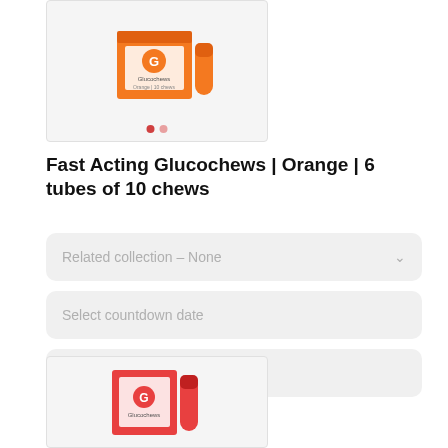[Figure (photo): Product image of Fast Acting Glucochews Orange 6 tubes of 10 chews - orange packaging with tube, shown in a light gray bordered box with two navigation dots below]
Fast Acting Glucochews | Orange | 6 tubes of 10 chews
Related collection - None
Select countdown date
Video embed link
+ Show All
[Figure (photo): Product image of Glucochews red/pink packaging - partial view of box and tube at bottom of page]